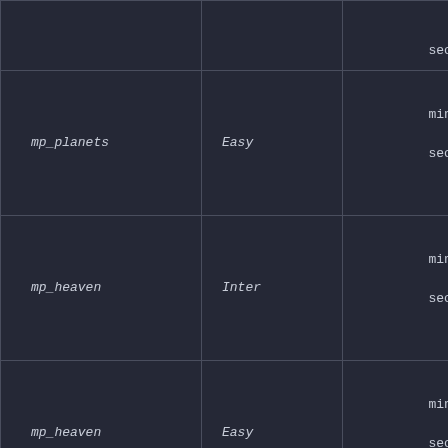| Map | Difficulty | Time | ... |
| --- | --- | --- | --- |
|  |  | seconds |  |
| mp_planets | Easy | 7 minutes - 51 seconds | 4 |
| mp_heaven | Inter | 12 minutes - 19 seconds | 3 |
| mp_heaven | Easy | 4 minutes - 12 seconds | 1 |
| mp_heaven | Easy | 7 | 9 |